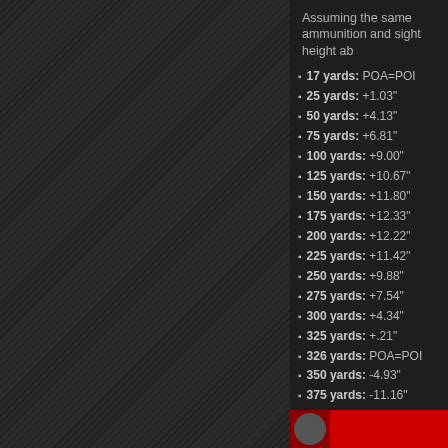Assuming the same ammunition and sight height ab
17 yards: POA=POI
25 yards: +1.03"
50 yards: +4.13"
75 yards: +6.81"
100 yards: +9.00"
125 yards: +10.67"
150 yards: +11.80"
175 yards: +12.33"
200 yards: +12.22"
225 yards: +11.42"
250 yards: +9.88"
275 yards: +7.54"
300 yards: +4.34"
325 yards: +.21"
326 yards: POA=POI
350 yards: -4.93"
375 yards: -11.16"
400 yards: -18.55"